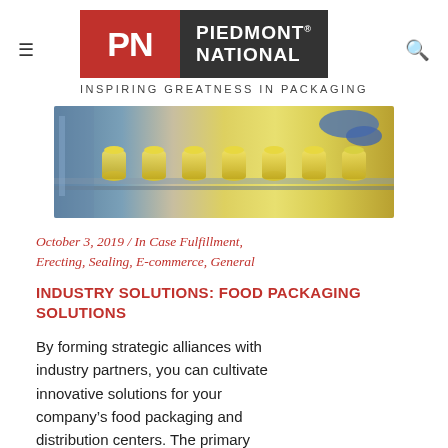PIEDMONT NATIONAL — INSPIRING GREATNESS IN PACKAGING
[Figure (photo): Industrial food packaging line with yellow-capped bottles moving along a conveyor belt, with robotic arms visible in the background]
October 3, 2019  /  In Case Fulfillment, Erecting, Sealing, E-commerce, General
INDUSTRY SOLUTIONS: FOOD PACKAGING SOLUTIONS
By forming strategic alliances with industry partners, you can cultivate innovative solutions for your company's food packaging and distribution centers. The primary focal points of end-of-line food